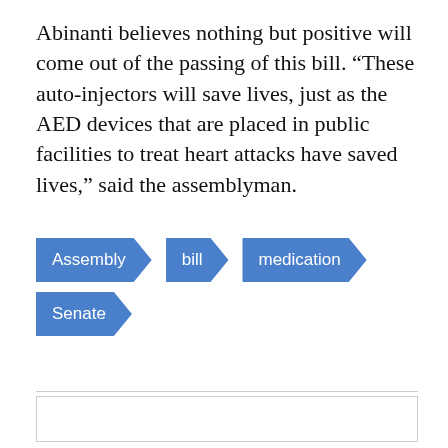Abinanti believes nothing but positive will come out of the passing of this bill. “These auto-injectors will save lives, just as the AED devices that are placed in public facilities to treat heart attacks have saved lives,” said the assemblyman.
[Figure (infographic): Four blue arrow/tag shaped labels: 'Assembly', 'bill', 'medication', 'Senate']